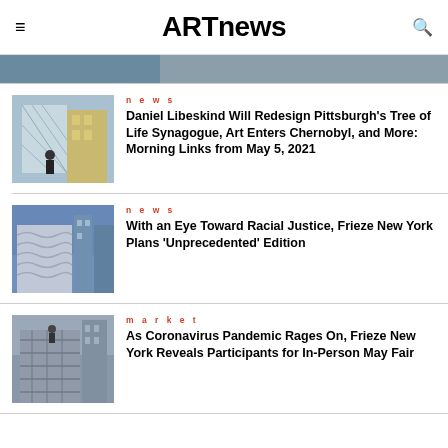ARTnews
[Figure (photo): Partial cropped photo strip at top of content area]
[Figure (photo): Photo of Daniel Libeskind standing in front of a building with lattice-like facade]
news
Daniel Libeskind Will Redesign Pittsburgh's Tree of Life Synagogue, Art Enters Chernobyl, and More: Morning Links from May 5, 2021
[Figure (photo): Photo of a modern wavy architectural building facade with skyscrapers in the background]
news
With an Eye Toward Racial Justice, Frieze New York Plans 'Unprecedented' Edition
[Figure (photo): Photo of a building wrapped in scaffolding or fabric covering]
market
As Coronavirus Pandemic Rages On, Frieze New York Reveals Participants for In-Person May Fair